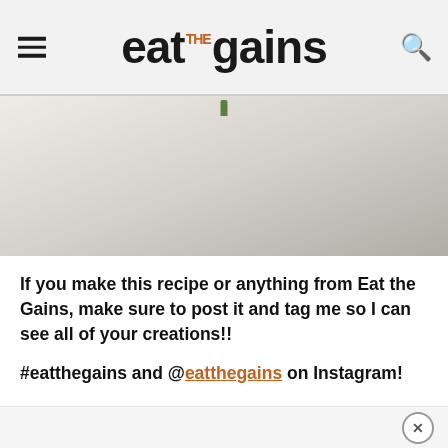eat:the:gains
[Figure (photo): Close-up photo of a bowl or plate with food, showing blurred beige/cream tones with a small green element at the top center]
If you make this recipe or anything from Eat the Gains, make sure to post it and tag me so I can see all of your creations!!
#eatthegains and @eatthegains on Instagram!